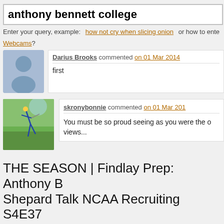anthony bennett college
Enter your query, example: how not cry when slicing onion or how to ente...
Webcams?
Darius Brooks commented on 01 Mar 2014
first
skronybonnie commented on 01 Mar 201...
You must be so proud seeing as you were the o... views...
THE SEASON | Findlay Prep: Anthony B... Shepard Talk NCAA Recruiting S4E37